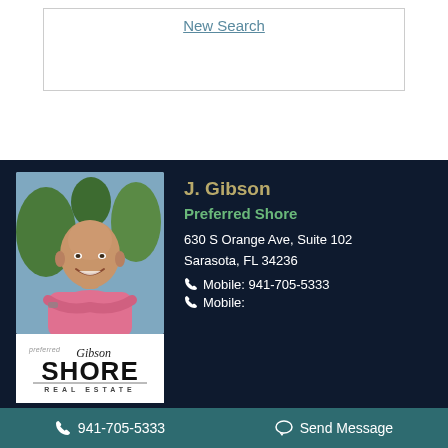New Search
[Figure (photo): Headshot of J. Gibson, a bald man in a pink shirt with arms crossed, smiling, with greenery in the background]
[Figure (logo): Preferred Shore Real Estate logo with Gibson script text]
J. Gibson
Preferred Shore
630 S Orange Ave, Suite 102
Sarasota, FL 34236
Mobile: 941-705-5333
Mobile:
941-705-5333   Send Message